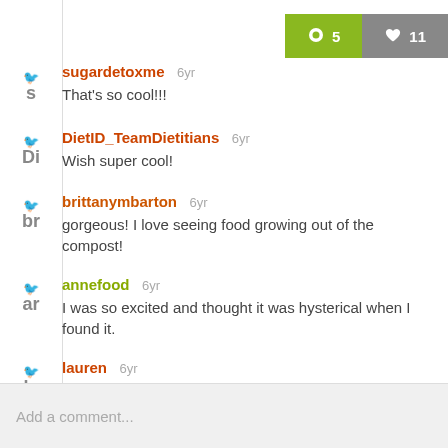[Figure (infographic): Comment count button (green, 5 comments) and like button (gray, 11 likes) in top right]
sugardetoxme 6yr
That's so cool!!!
DietID_TeamDietitians 6yr
Wish super cool!
brittanymbarton 6yr
gorgeous! I love seeing food growing out of the compost!
annefood 6yr
I was so excited and thought it was hysterical when I found it.
lauren 6yr
Incredible!!
Add a comment...